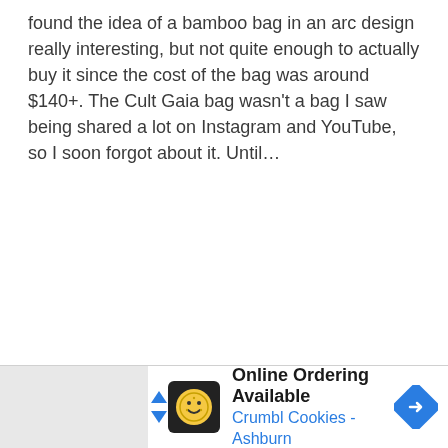found the idea of a bamboo bag in an arc design really interesting, but not quite enough to actually buy it since the cost of the bag was around $140+. The Cult Gaia bag wasn't a bag I saw being shared a lot on Instagram and YouTube, so I soon forgot about it. Until…
[Figure (other): Advertisement banner at the bottom of the page for Crumbl Cookies - Ashburn with text 'Online Ordering Available' and a navigation arrow icon]